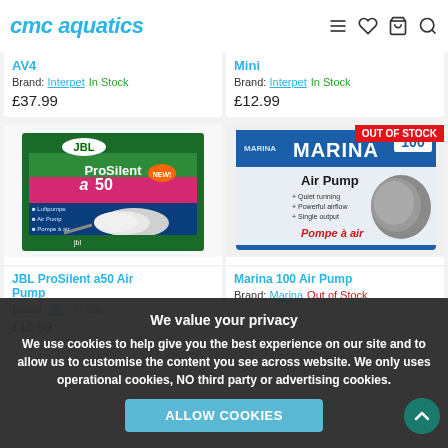cmc aquatics
AV4
Brand: Interpet  In Stock
£37.99
Mini
Brand: Interpet  In Stock
£12.99
[Figure (photo): JBL ProSilent a50 Air Pump product box]
[Figure (photo): Marina 100 Air Pump product box with OUT OF STOCK badge]
JBL ProSilent a50 Air Pump
Brand: JBL  In Stock
£15.99
Marina 100 Air Pump
Brand: Marina  Out of Stock
We value your privacy
We use cookies to help give you the best experience on our site and to allow us to customise the content you see across website. We only uses operational cookies, NO third party or advertising cookies.
ALLOW COOKIES